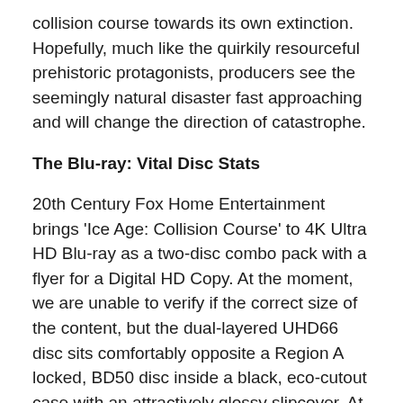collision course towards its own extinction. Hopefully, much like the quirkily resourceful prehistoric protagonists, producers see the seemingly natural disaster fast approaching and will change the direction of catastrophe.
The Blu-ray: Vital Disc Stats
20th Century Fox Home Entertainment brings 'Ice Age: Collision Course' to 4K Ultra HD Blu-ray as a two-disc combo pack with a flyer for a Digital HD Copy. At the moment, we are unable to verify if the correct size of the content, but the dual-layered UHD66 disc sits comfortably opposite a Region A locked, BD50 disc inside a black, eco-cutout case with an attractively glossy slipcover. At startup, the UHD commences with a series of skippable trailers before switching to a menu screen with the usual options along the bottom of the active display, where i